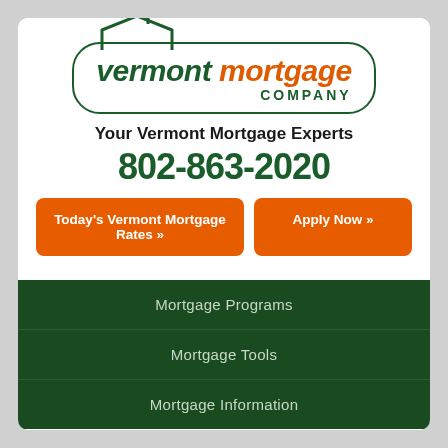[Figure (logo): Vermont Mortgage Company logo with house icon, green and orange text inside a rounded rectangle border]
Your Vermont Mortgage Experts
802-863-2020
Today's Vermont Mortgage Rates »
Apply Now »
Mortgage Programs
Mortgage Tools
Mortgage Information